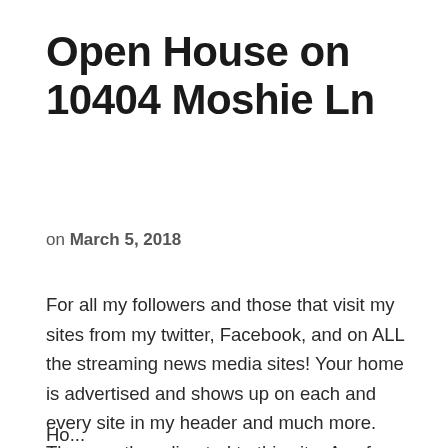Open House on 10404 Moshie Ln
on March 5, 2018
For all my followers and those that visit my sites from my twitter, Facebook, and on ALL the streaming news media sites! Your home is advertised and shows up on each and every site in my header and much more. They are then directed to this site.  As of Sunday, March 5th, this property has been exposed to 169,090 AD VIEWs and 231 people clicked on this website.